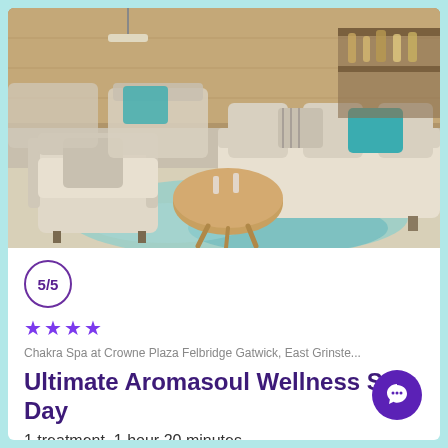[Figure (photo): Spa lounge interior with cream/beige sofas and armchairs, teal accent pillows, a round wooden coffee table with glassware, and a teal patterned rug on the floor. Warm wood paneling visible in background.]
5/5
★★★★
Chakra Spa at Crowne Plaza Felbridge Gatwick, East Grinste...
Ultimate Aromasoul Wellness Spa Day
1 treatment, 1 hour 20 minutes